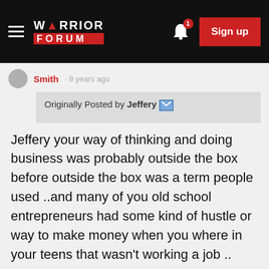Warrior Forum - Sign up
Originally Posted by Jeffery
Jeffery your way of thinking and doing business was probably outside the box before outside the box was a term people used ..and many of you old school entrepreneurs had some kind of hustle or way to make money when you where in your teens that wasn't working a job ..